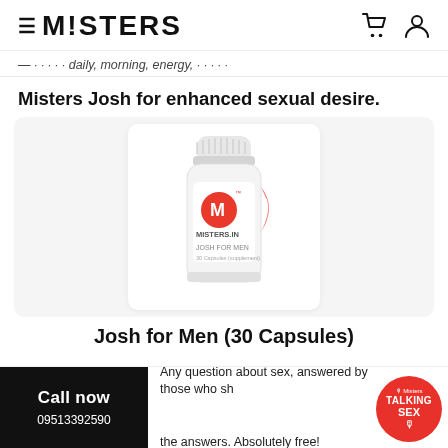MISTERS
... for daily, morning, energy, ...
Misters Josh for enhanced sexual desire.
[Figure (photo): White supplement pill bottle with red Misters logo (M) and 'MISTERS.IN' label, 'JOSH FOR MEN' text, on white background]
Josh for Men (30 Capsules)
Call now
09513392590
Any question about sex, answered by those who should have the answers. Absolutely free!